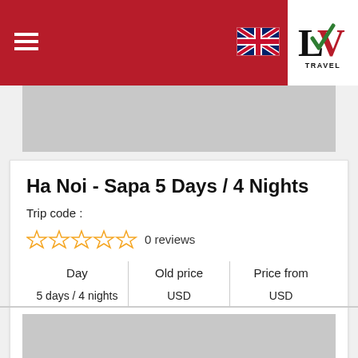LV Travel - Ha Noi Sapa 5 Days / 4 Nights tour page
Ha Noi - Sapa 5 Days / 4 Nights
Trip code :
0 reviews
| Day | Old price | Price from |
| --- | --- | --- |
| 5 days / 4 nights | USD | USD |
Send Enquiry
View More